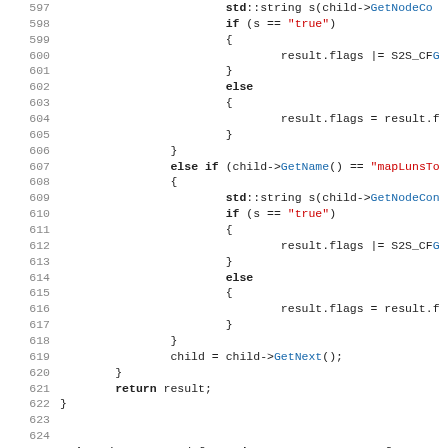[Figure (screenshot): Source code listing showing C++ code lines 597-628, with syntax highlighting: keywords in bold black, strings in red, function names/identifiers in blue, line numbers in gray.]